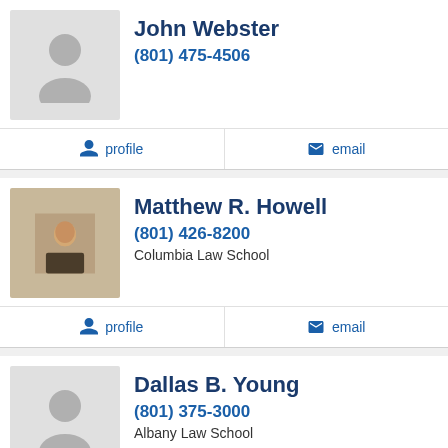[Figure (photo): Placeholder avatar silhouette for John Webster]
John Webster
(801) 475-4506
profile
email
[Figure (photo): Photo of Matthew R. Howell, a man in a suit]
Matthew R. Howell
(801) 426-8200
Columbia Law School
profile
email
[Figure (photo): Placeholder avatar silhouette for Dallas B. Young]
Dallas B. Young
(801) 375-3000
Albany Law School
profile